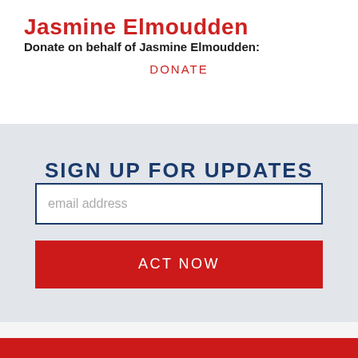Jasmine Elmoudden
Donate on behalf of Jasmine Elmoudden:
DONATE
SIGN UP FOR UPDATES
email address
ACT NOW